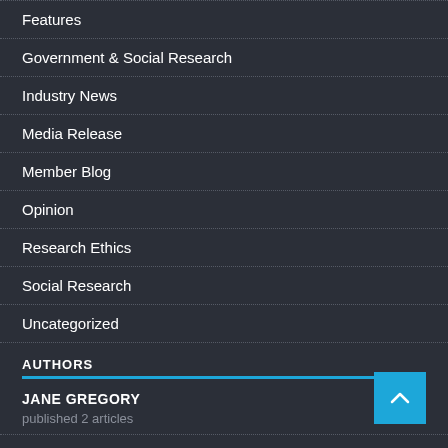Features
Government & Social Research
Industry News
Media Release
Member Blog
Opinion
Research Ethics
Social Research
Uncategorized
AUTHORS
JANE GREGORY
published 2 articles